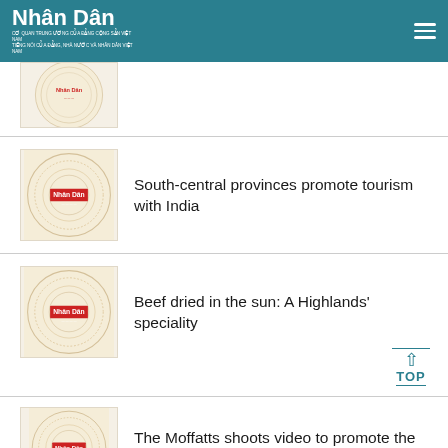Nhân Dân
[Figure (illustration): Nhân Dân newspaper logo watermark thumbnail - article 1 (partially visible)]
[Figure (illustration): Nhân Dân newspaper logo watermark thumbnail - article 2]
South-central provinces promote tourism with India
[Figure (illustration): Nhân Dân newspaper logo watermark thumbnail - article 3]
Beef dried in the sun: A Highlands' speciality
[Figure (illustration): Nhân Dân newspaper logo watermark thumbnail - article 4 (partially visible)]
The Moffatts shoots video to promote the beauty of Vietnam